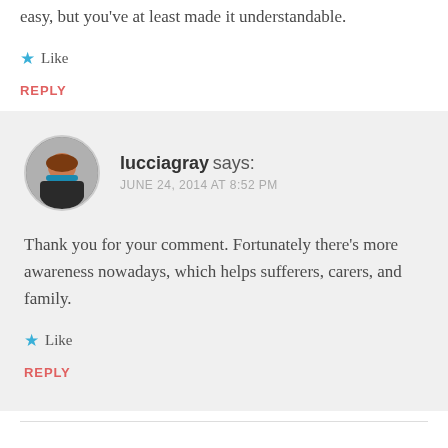easy, but you've at least made it understandable.
★ Like
REPLY
lucciagray says:
JUNE 24, 2014 AT 8:52 PM
Thank you for your comment. Fortunately there's more awareness nowadays, which helps sufferers, carers, and family.
★ Like
REPLY